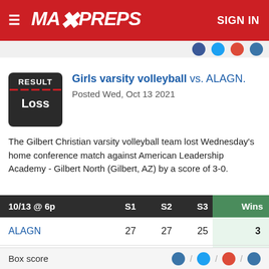MAXPREPS — SIGN IN
Girls varsity volleyball vs. ALAGN. Posted Wed, Oct 13 2021
The Gilbert Christian varsity volleyball team lost Wednesday's home conference match against American Leadership Academy - Gilbert North (Gilbert, AZ) by a score of 3-0.
| 10/13 @ 6p | S1 | S2 | S3 | Wins |
| --- | --- | --- | --- | --- |
| ALAGN | 27 | 27 | 25 | 3 |
| GCHS | 25 | 25 | 21 | 0 |
Box score